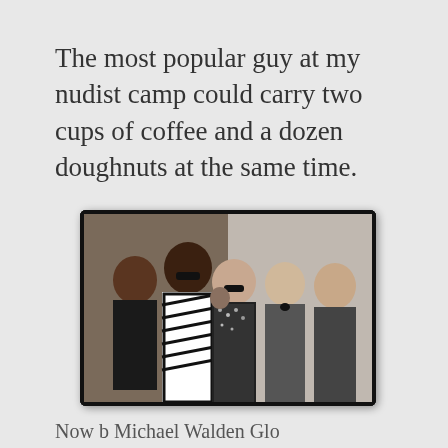The most popular guy at my nudist camp could carry two cups of coffee and a dozen doughnuts at the same time.
[Figure (photo): A photograph shown on a TV/monitor screen of five men posing together. One man wears a black-and-white zebra-striped jacket, another in the center wears sunglasses and a sequined jacket, and others are dressed in formal attire.]
Now b Michael Walden Glo...